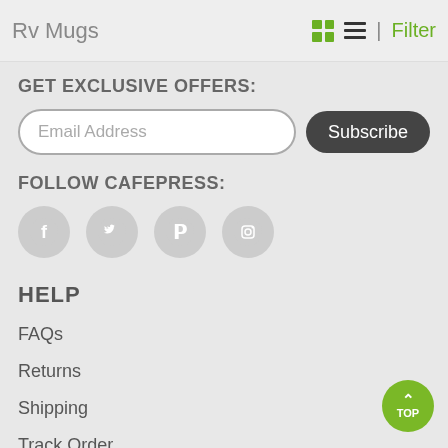Rv Mugs | Filter
GET EXCLUSIVE OFFERS:
Email Address
Subscribe
FOLLOW CAFEPRESS:
[Figure (illustration): Four social media icon circles: Facebook, Twitter, Pinterest, Instagram]
HELP
FAQs
Returns
Shipping
Track Order
Start Selling
Coupons